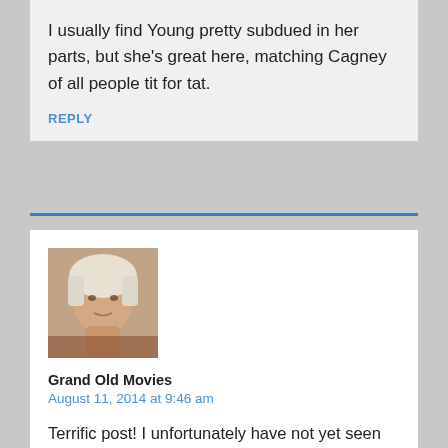I usually find Young pretty subdued in her parts, but she's great here, matching Cagney of all people tit for tat.
REPLY
[Figure (photo): Avatar photo of a man with white/silver hair, looking to the side, in a brownish setting.]
Grand Old Movies
August 11, 2014 at 9:46 am
Terrific post! I unfortunately have not yet seen this film, though have heard so much about its energy and zap, and both Cagney's and Young's appeal. Loved your analysis of Cagney's persona, how it could veer from tough guy to someone not adverse to bawling out his feelings. That takes